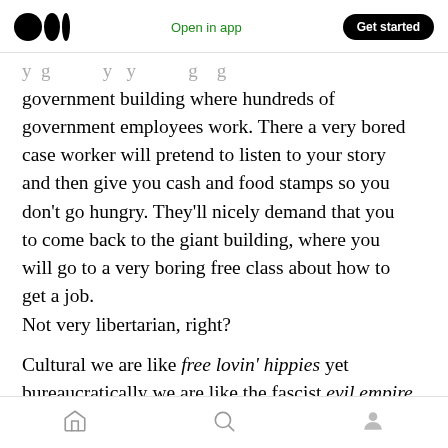Medium logo | Open in app | Get started
government building where hundreds of government employees work. There a very bored case worker will pretend to listen to your story and then give you cash and food stamps so you don't go hungry. They'll nicely demand that you to come back to the giant building, where you will go to a very boring free class about how to get a job.
Not very libertarian, right?

Cultural we are like free lovin' hippies yet bureaucratically we are like the fascist evil empire
Home | Search | Profile